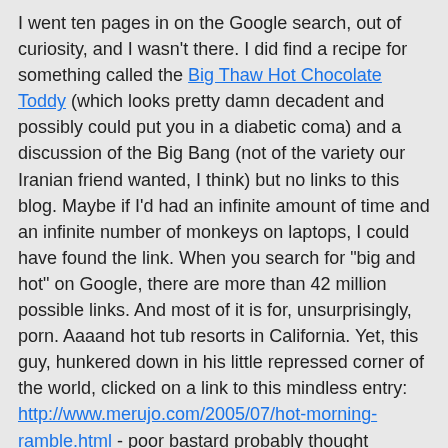I went ten pages in on the Google search, out of curiosity, and I wasn't there. I did find a recipe for something called the Big Thaw Hot Chocolate Toddy (which looks pretty damn decadent and possibly could put you in a diabetic coma) and a discussion of the Big Bang (not of the variety our Iranian friend wanted, I think) but no links to this blog. Maybe if I'd had an infinite amount of time and an infinite number of monkeys on laptops, I could have found the link. When you search for "big and hot" on Google, there are more than 42 million possible links. And most of it is for, unsurprisingly, porn. Aaaand hot tub resorts in California. Yet, this guy, hunkered down in his little repressed corner of the world, clicked on a link to this mindless entry: http://www.merujo.com/2005/07/hot-morning-ramble.html - poor bastard probably thought "ramble" was a slang term for "insanely amazing booty call." Right now, he is likely cursing me under his breath for wasting his precious dial-up time while some web-monitoring Iranian thought police schlub is marking me down as an evil infidel and trying to figure out how to access the secret messages in the non-playing audio file. (Alas, poor AudioBlogger, I do miss thee!)